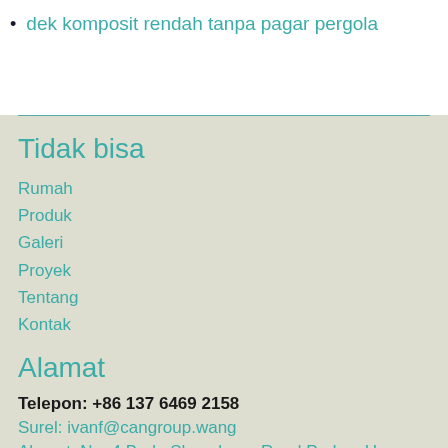dek komposit rendah tanpa pagar pergola
Tidak bisa
Rumah
Produk
Galeri
Proyek
Tentang
Kontak
Alamat
Telepon: +86 137 6469 2158
Surel: ivanf@cangroup.wang
Alamat: No. 4 Bada Shenzheng Road Padon, Hua An...